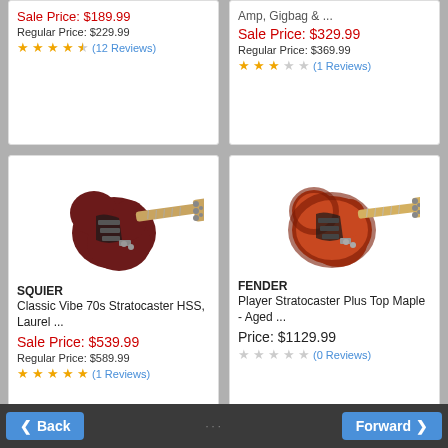Sale Price: $189.99
Regular Price: $229.99
★★★★½ (12 Reviews)
Amp, Gigbag & ...
Sale Price: $329.99
Regular Price: $369.99
★★★☆☆ (1 Reviews)
[Figure (photo): Squier Classic Vibe 70s Stratocaster HSS guitar in dark cherry/wine red finish with rosewood fretboard]
SQUIER
Classic Vibe 70s Stratocaster HSS, Laurel ...
Sale Price: $539.99
Regular Price: $589.99
★★★★★ (1 Reviews)
[Figure (photo): Fender Player Stratocaster Plus Top Maple guitar in aged cherry sunburst finish with maple fretboard]
FENDER
Player Stratocaster Plus Top Maple - Aged ...
Price: $1129.99
☆☆☆☆☆ (0 Reviews)
Back  Forward